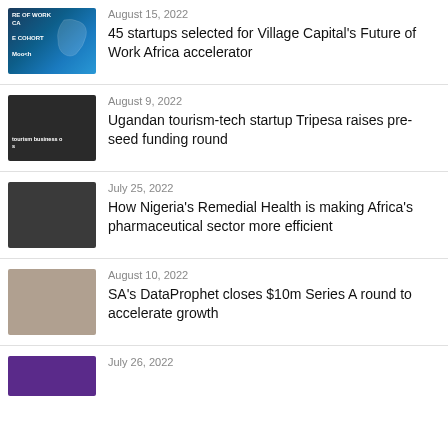[Figure (photo): Thumbnail image with dark blue background showing Africa map silhouette and text 'Future of Work Africa cohort']
August 15, 2022
45 startups selected for Village Capital's Future of Work Africa accelerator
[Figure (photo): Thumbnail image of a woman with headphones, tourism business context]
August 9, 2022
Ugandan tourism-tech startup Tripesa raises pre-seed funding round
[Figure (photo): Thumbnail image of two men in dark shirts sitting together]
July 25, 2022
How Nigeria's Remedial Health is making Africa's pharmaceutical sector more efficient
[Figure (photo): Thumbnail image of people at an event, celebrating]
August 10, 2022
SA's DataProphet closes $10m Series A round to accelerate growth
[Figure (photo): Thumbnail image with purple/dark background, partial view]
July 26, 2022